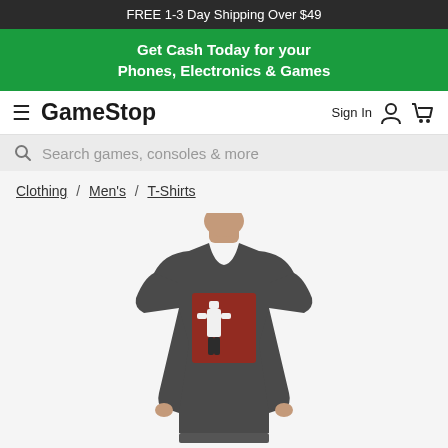FREE 1-3 Day Shipping Over $49
Get Cash Today for your Phones, Electronics & Games
GameStop — Sign In
Search games, consoles & more
Clothing / Men's / T-Shirts
[Figure (photo): Man wearing a dark grey graphic t-shirt featuring a red square graphic design with a character on it, shown from chest up, product display photo on light grey background]